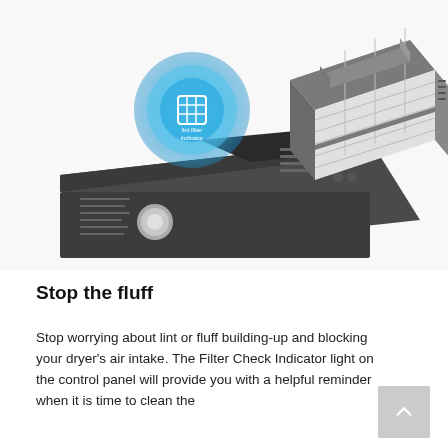[Figure (photo): Product photo showing a dark gray top-loading dryer with a blue glowing 'lint filter indicator' light/bubble highlighted on the control panel, and a separate lint filter/trap component shown lifted open beside the machine.]
Stop the fluff
Stop worrying about lint or fluff building-up and blocking your dryer's air intake. The Filter Check Indicator light on the control panel will provide you with a helpful reminder when it is time to clean the